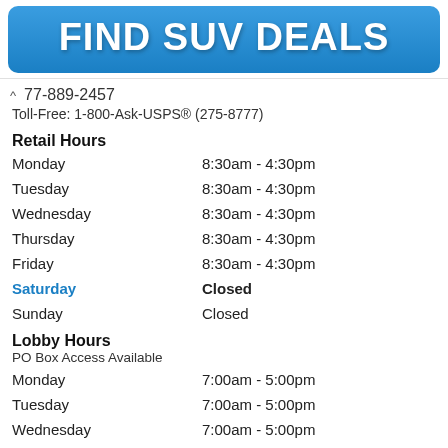[Figure (other): Blue gradient button with white bold text reading FIND SUV DEALS]
77-889-2457
Toll-Free: 1-800-Ask-USPS® (275-8777)
Retail Hours
Monday    8:30am - 4:30pm
Tuesday    8:30am - 4:30pm
Wednesday    8:30am - 4:30pm
Thursday    8:30am - 4:30pm
Friday    8:30am - 4:30pm
Saturday    Closed
Sunday    Closed
Lobby Hours
PO Box Access Available
Monday    7:00am - 5:00pm
Tuesday    7:00am - 5:00pm
Wednesday    7:00am - 5:00pm